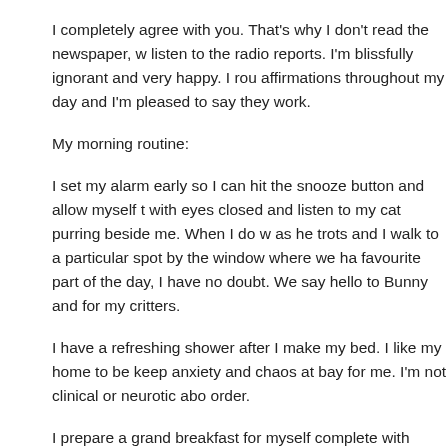I completely agree with you. That's why I don't read the newspaper, w listen to the radio reports. I'm blissfully ignorant and very happy. I rou affirmations throughout my day and I'm pleased to say they work.
My morning routine:
I set my alarm early so I can hit the snooze button and allow myself t with eyes closed and listen to my cat purring beside me. When I do w as he trots and I walk to a particular spot by the window where we ha favourite part of the day, I have no doubt. We say hello to Bunny and for my critters.
I have a refreshing shower after I make my bed. I like my home to be keep anxiety and chaos at bay for me. I'm not clinical or neurotic abo order.
I prepare a grand breakfast for myself complete with fresh coffee, an fruit and spend the next hour enjoying my meal while I catch up with computer.
At some point during my morning, I review all the things that I'm grate aloud and being fully present. That really helps to set the tone for my